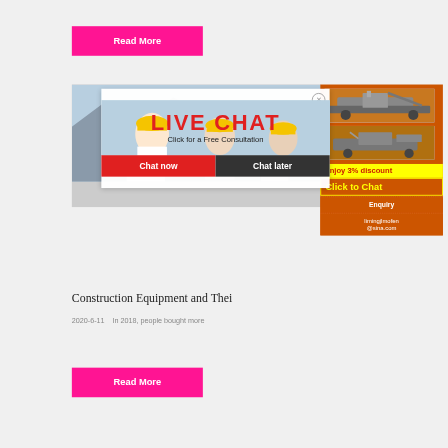Read More
[Figure (photo): Three workers wearing yellow hard hats at a construction site]
[Figure (screenshot): Live Chat popup overlay with Chat now and Chat later buttons]
[Figure (photo): Orange sidebar panel showing construction machinery images with discount offer, Enquiry section, and email limingjlmofen@sina.com]
Construction Equipment and Thei
2020-6-11   In 2018, people bought more
Read More